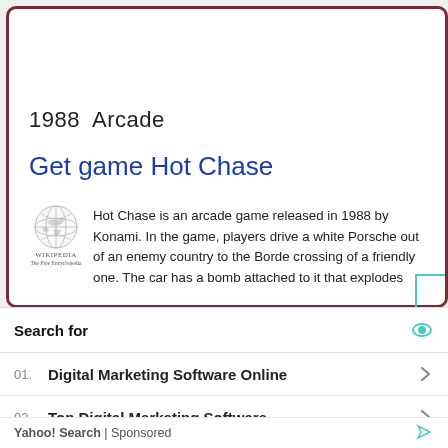1988  Arcade
Get game Hot Chase
[Figure (logo): Wikipedia globe logo with Wikipedia wordmark below]
Hot Chase is an arcade game released in 1988 by Konami. In the game, players drive a white Porsche out of an enemy country to the Border crossing of a friendly one. The car has a bomb attached to it that explodes in a set time. If the bomb explodes, ... more on Wikipedia
Search for
01. Digital Marketing Software Online
02. Top Digital Marketing Software
Yahoo! Search | Sponsored